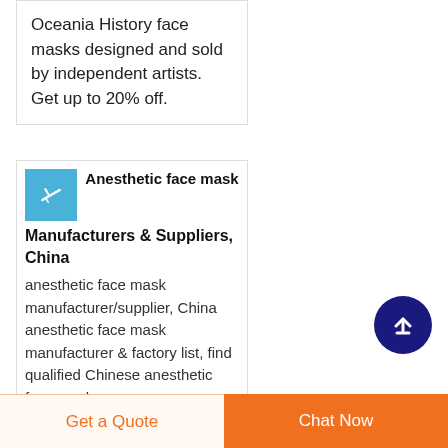Oceania History face masks designed and sold by independent artists. Get up to 20% off.
[Figure (thumbnail): Small blue thumbnail image with white airplane/bird silhouette icon]
Anesthetic face mask Manufacturers & Suppliers, China
anesthetic face mask manufacturer/supplier, China anesthetic face mask manufacturer & factory list, find qualified Chinese anesthetic face mask
[Figure (other): Dark navy circular scroll-to-top button with white upward arrow]
Get a Quote
Chat Now